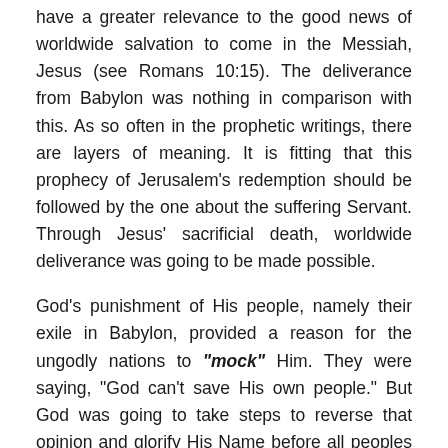have a greater relevance to the good news of worldwide salvation to come in the Messiah, Jesus (see Romans 10:15). The deliverance from Babylon was nothing in comparison with this. As so often in the prophetic writings, there are layers of meaning. It is fitting that this prophecy of Jerusalem's redemption should be followed by the one about the suffering Servant. Through Jesus' sacrificial death, worldwide deliverance was going to be made possible.
God's punishment of His people, namely their exile in Babylon, provided a reason for the ungodly nations to "mock" Him. They were saying, "God can't save His own people." But God was going to take steps to reverse that opinion and glorify His Name before all peoples (4-6). "...incessantly, my reputation blackened. Now it's time that my people know who I am, what I'm made of..." The Message. In (7-10) Isaiah envisages messengers running across the "mountains" towards Jerusalem, to bring the good news of the returning exiles. This return will silence the mockers (5).